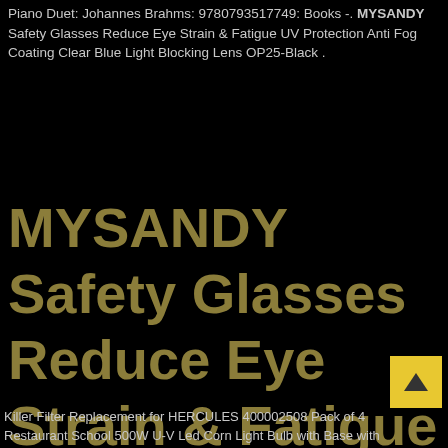Piano Duet: Johannes Brahms: 9780793517749: Books -. MYSANDY Safety Glasses Reduce Eye Strain & Fatigue UV Protection Anti Fog Coating Clear Blue Light Blocking Lens OP25-Black .
MYSANDY Safety Glasses Reduce Eye Strain & Fatigue UV Protection Anti Fog Coating Clear Blue Light Blocking Lens OP25-Black
Killer Filter Replacement for HERCULES 400002508 Pack of 4 . Restaurant School 500W U-V Led Corn Light Bulb with Base with